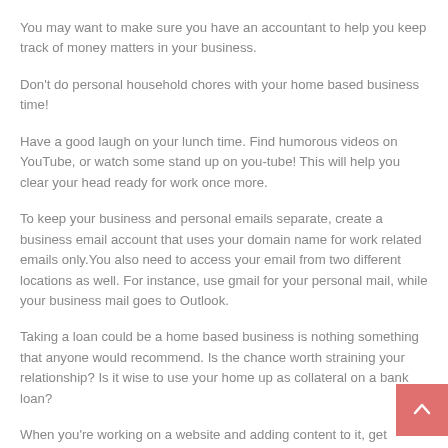You may want to make sure you have an accountant to help you keep track of money matters in your business.
Don't do personal household chores with your home based business time!
Have a good laugh on your lunch time. Find humorous videos on YouTube, or watch some stand up on you-tube! This will help you clear your head ready for work once more.
To keep your business and personal emails separate, create a business email account that uses your domain name for work related emails only.You also need to access your email from two different locations as well. For instance, use gmail for your personal mail, while your business mail goes to Outlook.
Taking a loan could be a home based business is nothing something that anyone would recommend. Is the chance worth straining your relationship? Is it wise to use your home up as collateral on a bank loan?
When you're working on a website and adding content to it, get